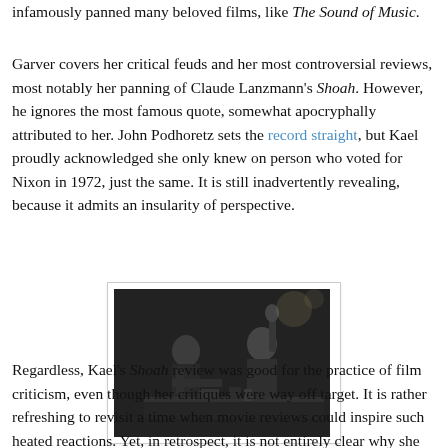infamously panned many beloved films, like The Sound of Music.
Garver covers her critical feuds and her most controversial reviews, most notably her panning of Claude Lanzmann's Shoah. However, he ignores the most famous quote, somewhat apocryphally attributed to her. John Podhoretz sets the record straight, but Kael proudly acknowledged she only knew on person who voted for Nixon in 1972, just the same. It is still inadvertently revealing, because it admits an insularity of perspective.
[Figure (photo): Black and white photograph of two people seated at a table in what appears to be a restaurant or bar setting.]
Regardless, Kael's Shoah review was good for the practice of film criticism, even though her critiques were way off target. It is rather refreshing to revisit a time when movie reviews could inspire such heated reactions. Yet, in retrospect, it is not entirely clear why she became the critic...